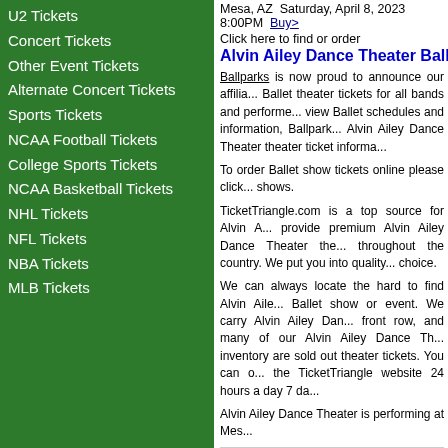U2 Tickets
Concert Tickets
Other Event Tickets
Alternate Concert Tickets
Sports Tickets
NCAA Football Tickets
College Sports Tickets
NCAA Basketball Tickets
NHL Tickets
NFL Tickets
NBA Tickets
MLB Tickets
Mesa, AZ  Saturday, April 8, 2023 8:00PM  Buy...
Click here to find or order
Alvin Ailey Dance Theater Ballet T...
Ballparks is now proud to announce our affilia... Ballet theater tickets for all bands and performe... view Ballet schedules and information, Ballpark... Alvin Ailey Dance Theater theater ticket informa...
To order Ballet show tickets online please click... shows.
TicketTriangle.com is a top source for Alvin A... provide premium Alvin Ailey Dance Theater the... throughout the country. We put you into quality... choice.
We can always locate the hard to find Alvin Aile... Ballet show or event. We carry Alvin Ailey Dan... front row, and many of our Alvin Ailey Dance Th... inventory are sold out theater tickets. You can o... the TicketTriangle website 24 hours a day 7 da...
Alvin Ailey Dance Theater is performing at Mes...
Alvin Ailey Dance Theater Phoenix
The Illusionists: Magic of the Holidays Tickets Mesa - A... Riverdance Tickets Mesa - Shen Yun Performing Arts T...
A Whole New World of Alan Menken Tickets Mesa - The...
Arizona Diamondbacks Tickets - Arizona Rattlers Ticket...